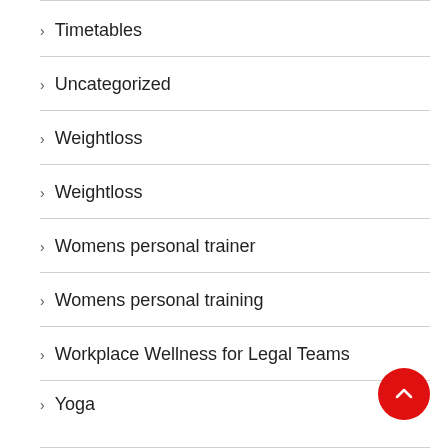Timetables
Uncategorized
Weightloss
Weightloss
Womens personal trainer
Womens personal training
Workplace Wellness for Legal Teams
Yoga